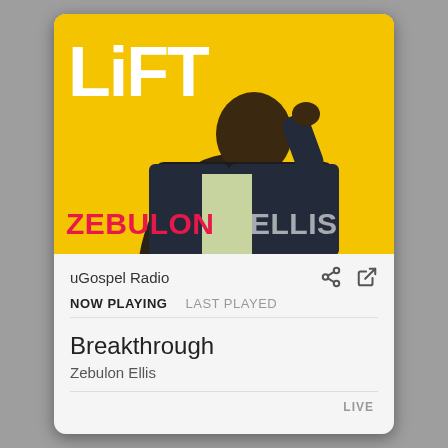[Figure (screenshot): Mobile app screenshot showing a music player card for uGospel Radio. The card features an album cover for 'LIFT' by Zebulon Ellis with a yellow background and a man in a denim jacket, plus track info showing 'Breakthrough' by Zebulon Ellis is now playing.]
uGospel Radio
NOW PLAYING	LAST PLAYED
Breakthrough
Zebulon Ellis
LIVE